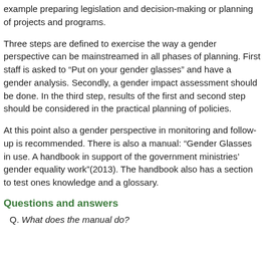example preparing legislation and decision-making or planning of projects and programs.
Three steps are defined to exercise the way a gender perspective can be mainstreamed in all phases of planning. First staff is asked to “Put on your gender glasses” and have a gender analysis. Secondly, a gender impact assessment should be done. In the third step, results of the first and second step should be considered in the practical planning of policies.
At this point also a gender perspective in monitoring and follow-up is recommended. There is also a manual: “Gender Glasses in use. A handbook in support of the government ministries’ gender equality work”(2013). The handbook also has a section to test ones knowledge and a glossary.
Questions and answers
Q. What does the manual do?